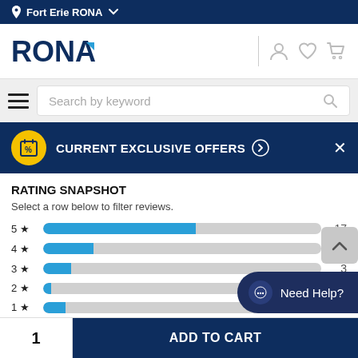Fort Erie RONA
[Figure (logo): RONA logo with user, heart, and cart icons]
Search by keyword
CURRENT EXCLUSIVE OFFERS
RATING SNAPSHOT
Select a row below to filter reviews.
[Figure (bar-chart): Rating Snapshot]
Need Help?
1
ADD TO CART